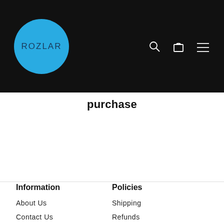[Figure (logo): ROZLAR logo - blue circle with dark blue text on black header background]
purchase
Enter your email
Information
Policies
About Us
Contact Us
FAQS
Shipping
Refunds
Privacy
Terms